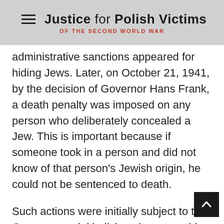Justice for Polish Victims OF THE SECOND WORLD WAR
administrative sanctions appeared for hiding Jews. Later, on October 21, 1941, by the decision of Governor Hans Frank, a death penalty was imposed on any person who deliberately concealed a Jew. This is important because if someone took in a person and did not know of that person's Jewish origin, he could not be sentenced to death.
Such actions were initially subject to the German special judiciary; however, this